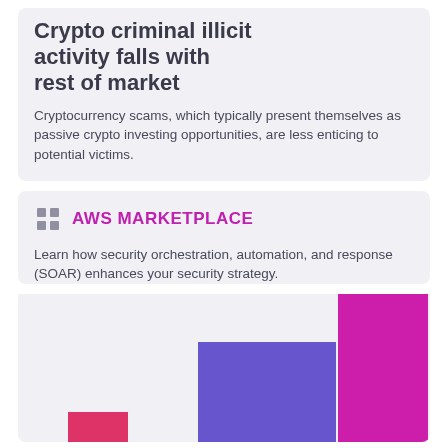Crypto criminal illicit activity falls with rest of market
Cryptocurrency scams, which typically present themselves as passive crypto investing opportunities, are less enticing to potential victims.
AWS MARKETPLACE
Learn how security orchestration, automation, and response (SOAR) enhances your security strategy.
[Figure (bar-chart): Partial bar chart with magenta/purple bars visible at bottom of page, chart data not fully visible]